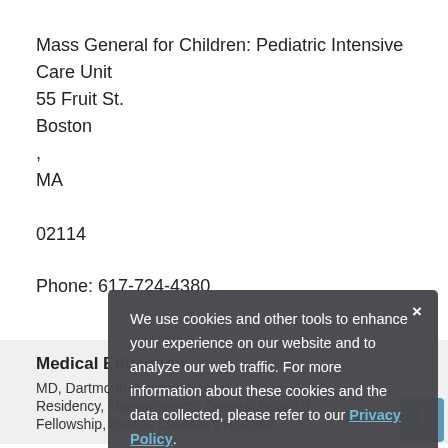Mass General for Children: Pediatric Intensive Care Unit
55 Fruit St.
Boston
,
MA

02114
Phone: 617-724-4380
Medical Education
MD, Dartmouth Medical School
Residency, Massachusetts General Hospital
Fellowship, Boston Children's Hospital
We use cookies and other tools to enhance your experience on our website and to analyze our web traffic. For more information about these cookies and the data collected, please refer to our Privacy Policy.